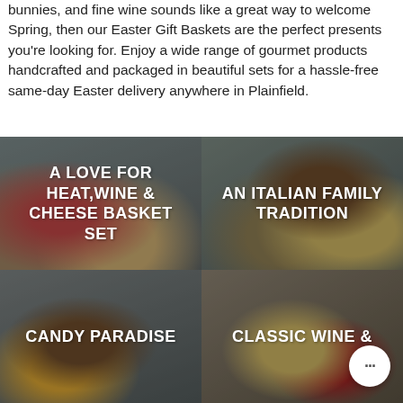bunnies, and fine wine sounds like a great way to welcome Spring, then our Easter Gift Baskets are the perfect presents you're looking for. Enjoy a wide range of gourmet products handcrafted and packaged in beautiful sets for a hassle-free same-day Easter delivery anywhere in Plainfield.
[Figure (photo): 2x2 grid of gift basket product photos. Top-left: 'A LOVE FOR HEAT,WINE & CHEESE BASKET SET' - charcuterie and cheese board with wine bottle and snacks. Top-right: 'AN ITALIAN FAMILY TRADITION' - Italian charcuterie board with wine, cheese, grapes and a wooden barrel. Bottom-left: 'CANDY PARADISE' - gift basket with candy and wooden barrel. Bottom-right: 'CLASSIC WINE &' - wine gift basket with wooden tote and wine bottle.]